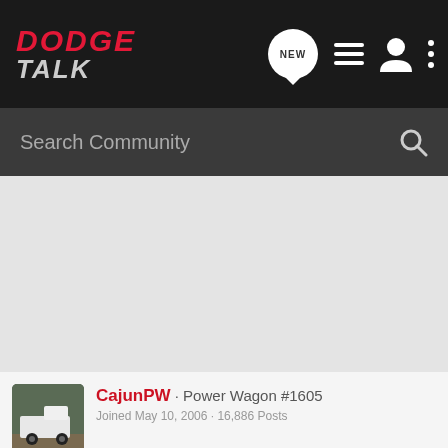DODGE TALK
Search Community
CajunPW · Power Wagon #1605
Joined May 10, 2006 · 16,886 Posts
#17 · Jan
[Figure (screenshot): Advertisement banner for Pedal Commander product — 'WANNA INCREASE YOUR 0-60?' with orange and black racing stripe design]